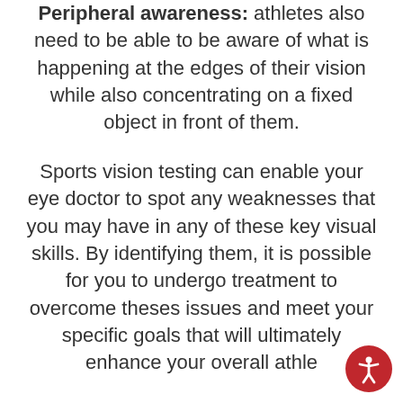Peripheral awareness: athletes also need to be able to be aware of what is happening at the edges of their vision while also concentrating on a fixed object in front of them.
Sports vision testing can enable your eye doctor to spot any weaknesses that you may have in any of these key visual skills. By identifying them, it is possible for you to undergo treatment to overcome theses issues and meet your specific goals that will ultimately enhance your overall athletic performance. This is by no means an exhaustive